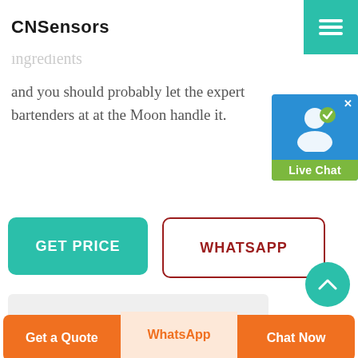CNSensors
should be fun, fast and easy so you can shake it up, down and enjoy! Let’s face it, any more that 34 ingredients
and you should probably let the expert bartenders at at the Moon handle it.
[Figure (screenshot): Live Chat widget showing user icon with green checkmark and Live Chat label in green]
[Figure (other): GET PRICE button (teal) and WHATSAPP button (white with dark red border)]
[Figure (photo): Green PCB electronics module with cylindrical sensor and pin headers on light grey background]
Get a Quote | WhatsApp | Chat Now